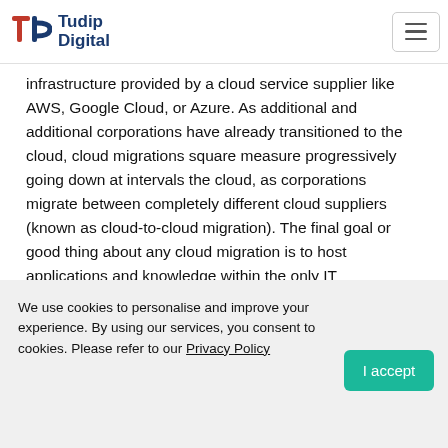Tudip Digital
infrastructure provided by a cloud service supplier like AWS, Google Cloud, or Azure. As additional and additional corporations have already transitioned to the cloud, cloud migrations square measure progressively going down at intervals the cloud, as corporations migrate between completely different cloud suppliers (known as cloud-to-cloud migration). The final goal or good thing about any cloud migration is to host applications and knowledge within the only IT atmosphere potential, supported by factors like price, performance, and security.
We use cookies to personalise and improve your experience. By using our services, you consent to cookies. Please refer to our Privacy Policy